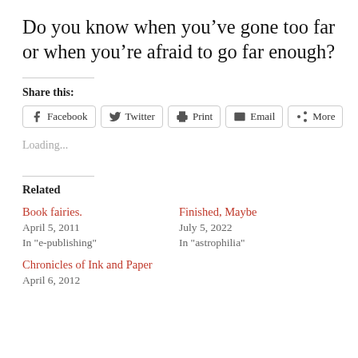Do you know when you've gone too far or when you're afraid to go far enough?
Share this:
Facebook  Twitter  Print  Email  More
Loading...
Related
Book fairies.
April 5, 2011
In "e-publishing"
Finished, Maybe
July 5, 2022
In "astrophilia"
Chronicles of Ink and Paper
April 6, 2012